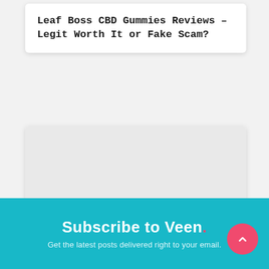Leaf Boss CBD Gummies Reviews – Legit Worth It or Fake Scam?
[Figure (illustration): Light gray placeholder image area for a blog post card]
Jolly CBD Gummies – Stress Healing Gummies Works? Read Reviews First
Subscribe to Veen.
Get the latest posts delivered right to your email.